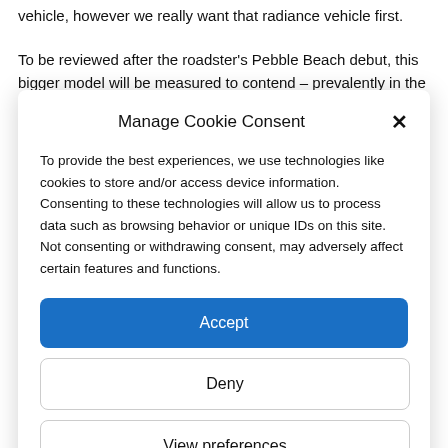vehicle, however we really want that radiance vehicle first.
To be reviewed after the roadster's Pebble Beach debut, this bigger model will be measured to contend – prevalently in the US – with
Manage Cookie Consent
To provide the best experiences, we use technologies like cookies to store and/or access device information. Consenting to these technologies will allow us to process data such as browsing behavior or unique IDs on this site. Not consenting or withdrawing consent, may adversely affect certain features and functions.
Accept
Deny
View preferences
Privacy Policy